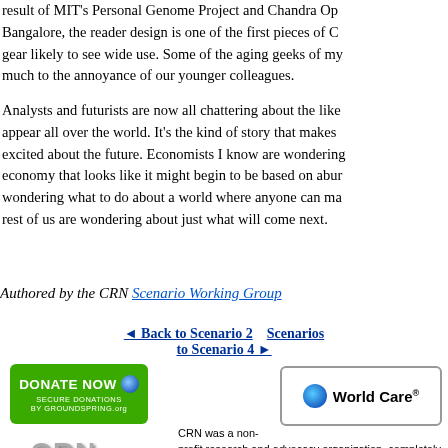result of MIT's Personal Genome Project and Chandra Operations in Bangalore, the reader design is one of the first pieces of C— gear likely to see wide use. Some of the aging geeks of my— much to the annoyance of our younger colleagues.
Analysts and futurists are now all chattering about the like— appear all over the world. It's the kind of story that makes— excited about the future. Economists I know are wondering— economy that looks like it might begin to be based on abun— wondering what to do about a world where anyone can ma— rest of us are wondering about just what will come next.
Authored by the CRN Scenario Working Group
◄ Back to Scenario 2   Scenarios   to Scenario 4 ►
[Figure (other): Green DONATE NOW button with globe icon, text: SECURE DONATIONS BY GROUNDSPRING.org]
[Figure (logo): World Care logo with globe icon in a rounded rectangle border]
[Figure (logo): CRN metallic logo with HOME text and red arrow]
CRN was a non-profit research and advocacy organization, completely dependent on small grants and individual contributions.
[Figure (other): About Us navigation button (dark blue rounded)]
[Figure (other): Site Search & Map navigation button (dark blue rounded)]
[Figure (other): FAQ navigation button (dark blue rounded)]